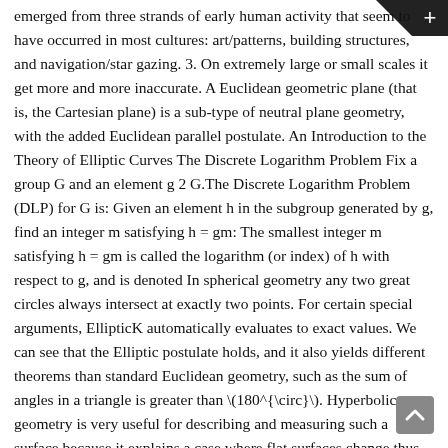emerged from three strands of early human activity that seem to have occurred in most cultures: art/patterns, building structures, and navigation/star gazing. 3. On extremely large or small scales it get more and more inaccurate. A Euclidean geometric plane (that is, the Cartesian plane) is a sub-type of neutral plane geometry, with the added Euclidean parallel postulate. An Introduction to the Theory of Elliptic Curves The Discrete Logarithm Problem Fix a group G and an element g 2 G.The Discrete Logarithm Problem (DLP) for G is: Given an element h in the subgroup generated by g, find an integer m satisfying h = gm: The smallest integer m satisfying h = gm is called the logarithm (or index) of h with respect to g, and is denoted In spherical geometry any two great circles always intersect at exactly two points. For certain special arguments, EllipticK automatically evaluates to exact values. We can see that the Elliptic postulate holds, and it also yields different theorems than standard Euclidean geometry, such as the sum of angles in a triangle is greater than \(180^{\circ}\). Hyperbolic geometry is very useful for describing and measuring such a surface because it explains a case where flat surfaces change thus changing some of the original rules set forth by Euclid. The original form of elliptical geometry, known as spherical geometry